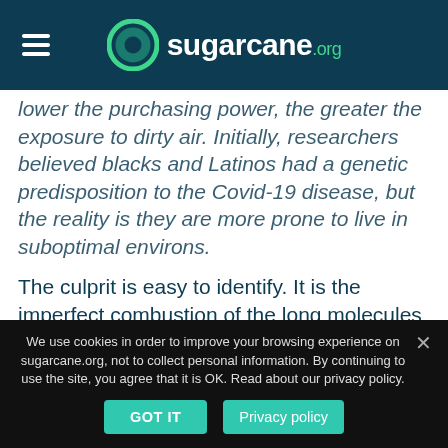sugarcane.org
lower the purchasing power, the greater the exposure to dirty air. Initially, researchers believed blacks and Latinos had a genetic predisposition to the Covid-19 disease, but the reality is they are more prone to live in suboptimal environs.
The culprit is easy to identify. It is the imperfect combustion of the long molecules of fossil fuels which are difficult to be accessed by oxygen. Instead of burning completely, many of these chains bend and
We use cookies in order to improve your browsing experience on sugarcane.org, not to collect personal information. By continuing to use the site, you agree that it is OK. Read about our privacy policy.
GOT IT
Privacy policy